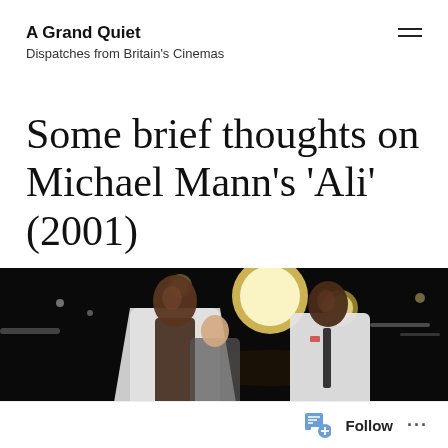A Grand Quiet
Dispatches from Britain's Cinemas
Some brief thoughts on Michael Mann's 'Ali' (2001)
[Figure (photo): Film still from Michael Mann's Ali (2001) showing Will Smith in a white robe alongside other cast members in a boxing arena setting with large round lights in the background]
Follow ...